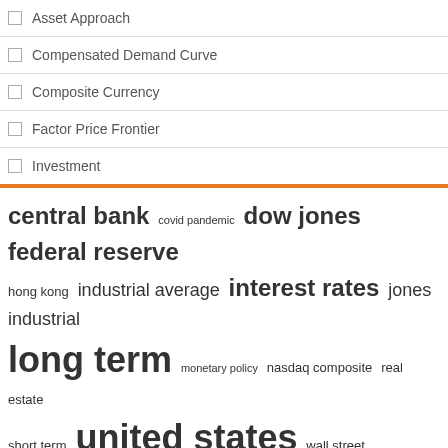Asset Approach
Compensated Demand Curve
Composite Currency
Factor Price Frontier
Investment
[Figure (infographic): Tag cloud with finance/economics terms in varying sizes: central bank, covid pandemic, dow jones, federal reserve, hong kong, industrial average, interest rates, jones industrial, long term, monetary policy, nasdaq composite, real estate, short term, united states, wall street]
Recent Posts
Plan your tax investments
Senate unanimously passes aviation loan bill